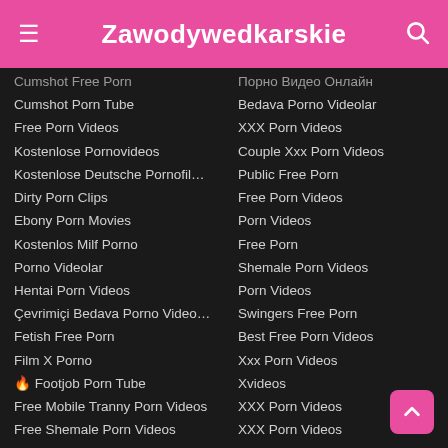≡  Zawodywedkarskie  🔍
Cumshot Free Porn
Cumshot Porn Tube
Free Porn Videos
Kostenlose Pornovideos
Kostenlose Deutsche Pornofil...
Dirty Porn Clips
Ebony Porn Movies
Kostenlos Milf Porno
Porno Videolar
Hentai Porn Videos
Çevrimiçi Bedava Porno Video...
Fetish Free Porn
Film X Porno
🔥 Footjob Porn Tube
Free Mobile Tranny Porn Videos
Free Shemale Porn Videos
Free Tranny Porn
Gay Porn Tube
Gay Porn
Gay Porn Videos
Gay Porn Videos
Порно Видео Онлайн
Bedava Porno Videolar
XXX Porn Videos
Couple Xxx Porn Videos
Public Free Porn
Free Porn Videos
Porn Videos
Free Porn
Shemale Porn Videos
Porn Videos
Swingers Free Porn
Best Free Porn Videos
Xxx Porn Videos
Xvideos
XXX Porn Videos
XXX Porn Videos
Xxx Porn Videos
Porn Videos With Your Girlfrie...
Young Porn Tubes
Porn Videos
Porn Videos